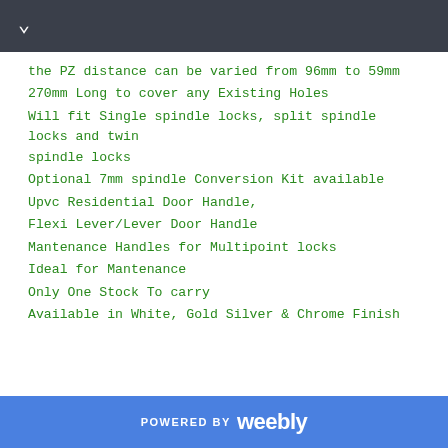the PZ distance can be varied from 96mm to 59mm
270mm Long to cover any Existing Holes
Will fit Single spindle locks, split spindle locks and twin spindle locks
Optional 7mm spindle Conversion Kit available
Upvc Residential Door Handle,
Flexi Lever/Lever Door Handle
Mantenance Handles for Multipoint locks
Ideal for Mantenance
Only One Stock To carry
Available in White, Gold Silver & Chrome Finish
POWERED BY weebly